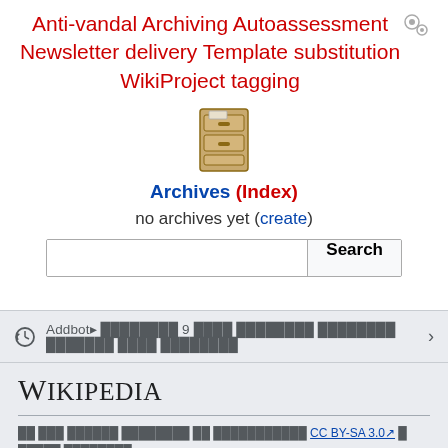Anti-vandal Archiving Autoassessment Newsletter delivery Template substitution WikiProject tagging
[Figure (illustration): File cabinet / archive box icon]
Archives (Index)
no archives yet (create)
[Figure (screenshot): Search input box with Search button]
Addbot▸ ████████ 9 ████ ████████ ████████ ███████ ████ ████████
Wikipedia
██ ███ ██████ ████████ ██ ████████████ CC BY-SA 3.0 █ █████ ████████
█████████ ██████████ • ██████████ ████ • ███████